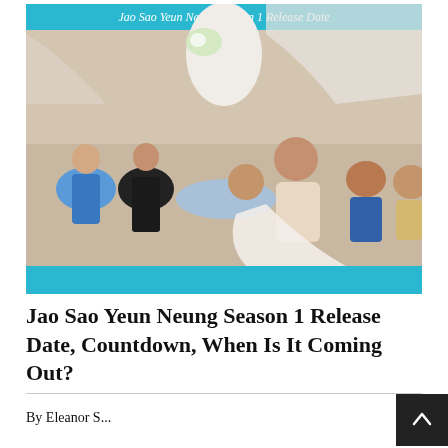[Figure (photo): A TV show promotional image for 'Jao Sao Yeun Neung Season 1 Release Date' with a banner at the top showing that text on a teal/cyan background. The image shows a group of Thai actors/characters posed together, including a woman in a white wedding dress holding a bouquet, a man lying down, women in black and blue outfits, and others smiling. The bottom of the image has a teal/cyan rectangular band.]
Jao Sao Yeun Neung Season 1 Release Date, Countdown, When Is It Coming Out?
By Eleanor S...